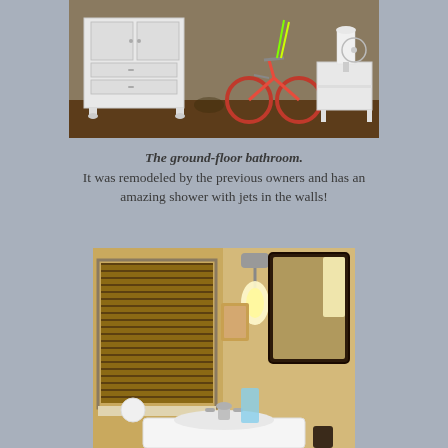[Figure (photo): Indoor room photo showing a white wicker dresser/armoire, a pink bicycle leaning against the wall, and a white wicker side table with a lamp in the background.]
The ground-floor bathroom. It was remodeled by the previous owners and has an amazing shower with jets in the walls!
[Figure (photo): Bathroom photo showing wooden venetian blinds on a window, a wall-mounted light fixture with a globe bulb, a framed mirror with dark wood frame, a white sink, and various bathroom accessories.]